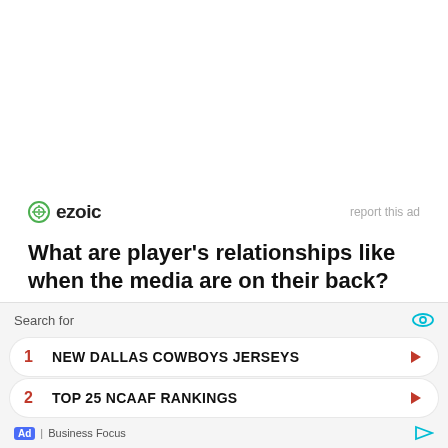[Figure (logo): Ezoic logo with circular icon and 'ezoic' wordmark, plus 'report this ad' text on right]
What are player's relationships like when the media are on their back?
These questions are answered in I am The Secret Footballer. An anonymous ex-Premier League player
[Figure (infographic): Ad overlay: Search for section with two sponsored links: 1. NEW DALLAS COWBOYS JERSEYS, 2. TOP 25 NCAAF RANKINGS, Business Focus ad footer]